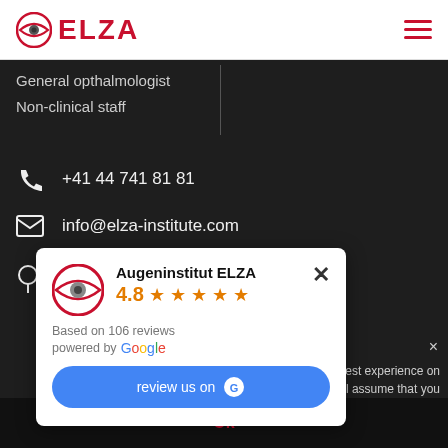[Figure (logo): ELZA eye institute logo with red circular eye target icon and bold red ELZA wordmark]
[Figure (other): Hamburger menu icon with three red horizontal bars]
General opthalmologist
Non-clinical staff
+41 44 741 81 81
info@elza-institute.com
[Figure (other): Google review popup card for Augeninstitut ELZA showing rating 4.8 based on 106 reviews, powered by Google, with review us on Google button]
the best experience on our website. If you continue to use this site we will assume that you are happy with it.
Ok